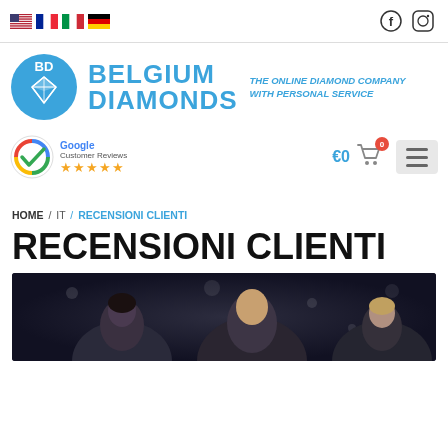Flag icons (US, FR, IT, DE) and social icons (Facebook, Instagram)
[Figure (logo): Belgium Diamonds logo: blue circle with BD and diamond, text BELGIUM DIAMONDS, tagline THE ONLINE DIAMOND COMPANY WITH PERSONAL SERVICE]
[Figure (logo): Google Customer Reviews badge with checkmark and 5 gold stars]
€0 (shopping cart, 0 items) and hamburger menu button
HOME / IT / RECENSIONI CLIENTI
RECENSIONI CLIENTI
[Figure (photo): Photo of women socializing at an event, dark background with bokeh lights]